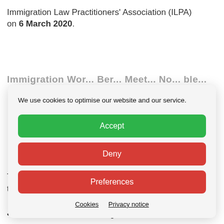Immigration Law Practitioners' Association (ILPA) on 6 March 2020.
[Figure (screenshot): Cookie consent modal overlay with 'We use cookies to optimise our website and our service.' text, and three buttons: Accept (green), Deny (red), Preferences (red), with Cookies and Privacy notice links at the bottom.]
The conference will be addressing the following topics:
• We are in the last line arising content...